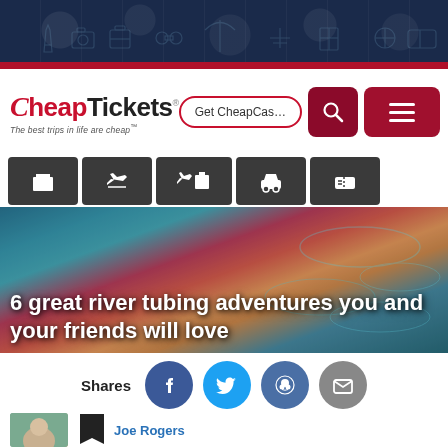[Figure (screenshot): CheapTickets website header with dark navy banner showing travel icons, red accent line, logo with tagline 'The best trips in life are cheap', Get CheapCash button, search icon, and hamburger menu.]
[Figure (photo): Hero image of a person floating in a river tube with text overlay: '6 great river tubing adventures you and your friends will love']
6 great river tubing adventures you and your friends will love
Shares
[Figure (screenshot): Social share buttons: Facebook (blue), Twitter (light blue), Reddit (dark blue), Email (gray)]
[Figure (photo): Author avatar photo thumbnail]
Joe Rogers